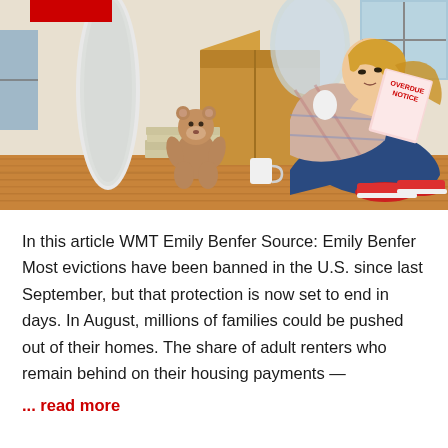[Figure (photo): A woman sitting on a hardwood floor against a cardboard moving box, reading a document with 'OVERDUE NOTICE' text visible. She holds a coffee cup, a teddy bear sits nearby, and there are stacked newspapers on the floor. The room appears to be empty or being packed up.]
In this article WMT Emily Benfer Source: Emily Benfer Most evictions have been banned in the U.S. since last September, but that protection is now set to end in days. In August, millions of families could be pushed out of their homes. The share of adult renters who remain behind on their housing payments —
... read more